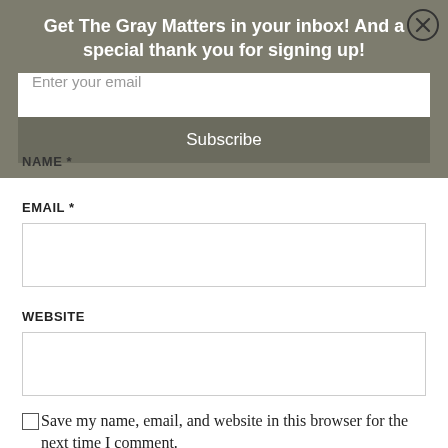Get The Gray Matters in your inbox! And a special thank you for signing up!
Enter your email
Subscribe
NAME *
EMAIL *
WEBSITE
Save my name, email, and website in this browser for the next time I comment.
Notify me of follow-up comments by email.